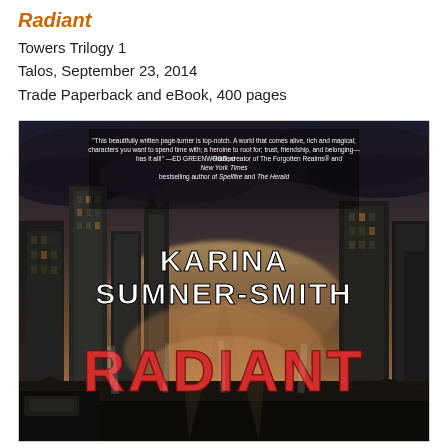Radiant
Towers Trilogy 1
Talos, September 23, 2014
Trade Paperback and eBook, 400 pages
[Figure (illustration): Book cover for 'Radiant' by Karina Sumner-Smith. Shows a post-apocalyptic cityscape with ruined skyscrapers under a dramatic stormy sky. The author name 'KARINA SUMNER-SMITH' appears in large white text across the middle, and 'RADIANT' appears in large red distressed letters at the bottom. A pull quote from Ed Greenwood appears at the top: 'This beautifully written page-turner is top-notch. A world that comes alive, rich and magical; characters you want to spend time with; a heroine to root for; trust, friendship, and belonging—Radiant has it all!']